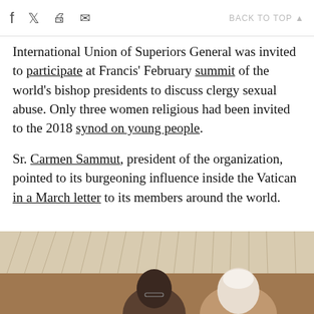f [twitter] [print] [email]   BACK TO TOP ▲
International Union of Superiors General was invited to participate at Francis' February summit of the world's bishop presidents to discuss clergy sexual abuse. Only three women religious had been invited to the 2018 synod on young people.
Sr. Carmen Sammut, president of the organization, pointed to its burgeoning influence inside the Vatican in a March letter to its members around the world.
[Figure (photo): Photo of two people, a woman and Pope Francis, sitting together and conversing inside a large hall with an arched ceiling.]